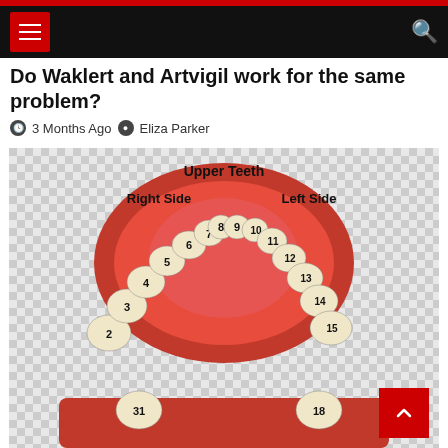Navigation bar with menu and search
Do Waklert and Artvigil work for the same problem?
3 Months Ago  Eliza Parker
[Figure (photo): Dental model showing upper teeth numbered 2-15 with labels 'Upper Teeth', 'Right Side', 'Left Side', and partial lower teeth numbered 18 and 31 visible at bottom]